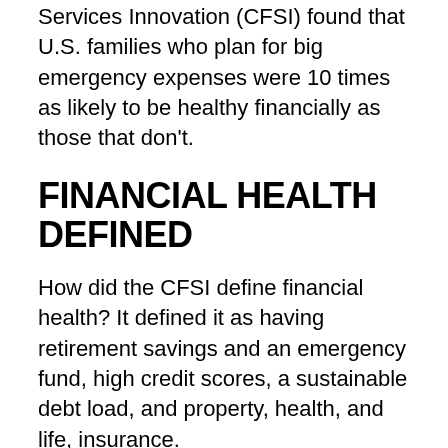Services Innovation (CFSI) found that U.S. families who plan for big emergency expenses were 10 times as likely to be healthy financially as those that don't.
FINANCIAL HEALTH DEFINED
How did the CFSI define financial health? It defined it as having retirement savings and an emergency fund, high credit scores, a sustainable debt load, and property, health, and life, insurance.
People who do plan don't focus just on long-term goals, either. They also plan and save for near-term expenses such as those that will come up in the next week, or the next six months. The fact is that you